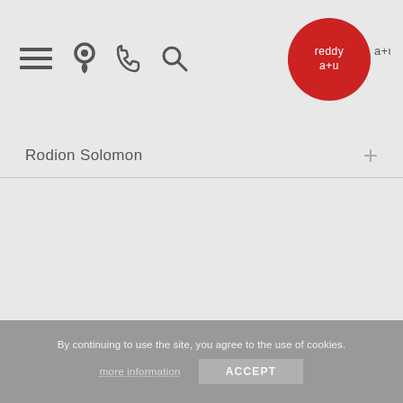[Figure (logo): reddya+u logo: red circle with white text 'reddya+u']
Rodion Solomon
By continuing to use the site, you agree to the use of cookies.
more information
ACCEPT